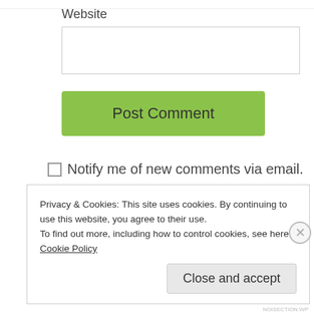Website
[Figure (screenshot): Website input text field (empty)]
[Figure (screenshot): Post Comment button (green/olive colored)]
Notify me of new comments via email.
Notify me of new posts via email.
Privacy & Cookies: This site uses cookies. By continuing to use this website, you agree to their use.
To find out more, including how to control cookies, see here: Cookie Policy
Close and accept